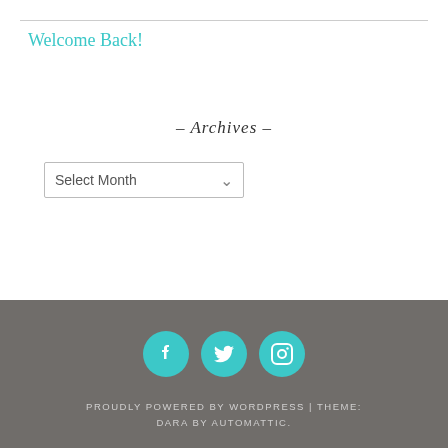Welcome Back!
- Archives -
[Figure (screenshot): A dropdown select input labeled 'Select Month' with a dropdown arrow]
PROUDLY POWERED BY WORDPRESS | THEME: DARA BY AUTOMATTIC.